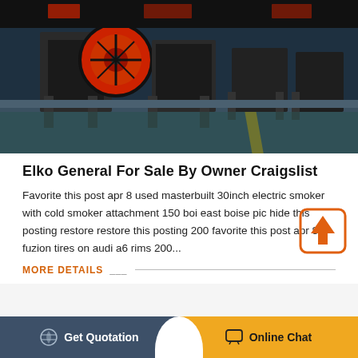[Figure (photo): Industrial machinery - large metal crushing/mining machines with red and black components lined up in a factory floor]
Elko General For Sale By Owner Craigslist
Favorite this post apr 8 used masterbuilt 30inch electric smoker with cold smoker attachment 150 boi east boise pic hide this posting restore restore this posting 200 favorite this post apr 8 fuzion tires on audi a6 rims 200...
MORE DETAILS
[Figure (photo): Industrial warehouse or factory interior with metal structures and equipment]
Get Quotation
Online Chat